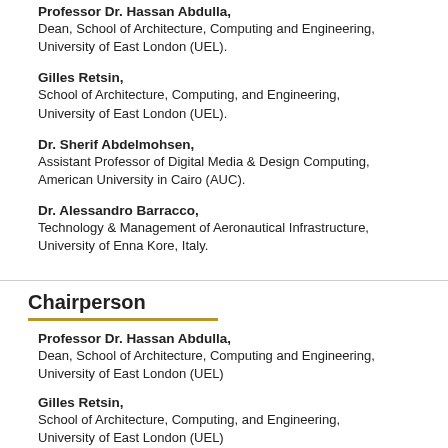Professor Dr. Hassan Abdulla,
Dean, School of Architecture, Computing and Engineering, University of East London (UEL).
Gilles Retsin,
School of Architecture, Computing, and Engineering, University of East London (UEL).
Dr. Sherif Abdelmohsen,
Assistant Professor of Digital Media & Design Computing, American University in Cairo (AUC).
Dr. Alessandro Barracco,
Technology & Management of Aeronautical Infrastructure, University of Enna Kore, Italy.
Chairperson
Professor Dr. Hassan Abdulla,
Dean, School of Architecture, Computing and Engineering, University of East London (UEL)
Gilles Retsin,
School of Architecture, Computing, and Engineering, University of East London (UEL)
Contacts